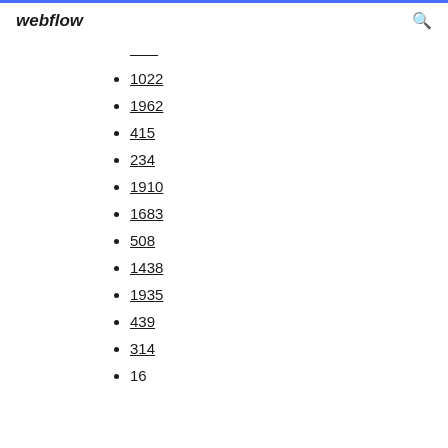webflow
1022
1962
415
234
1910
1683
508
1438
1935
439
314
16